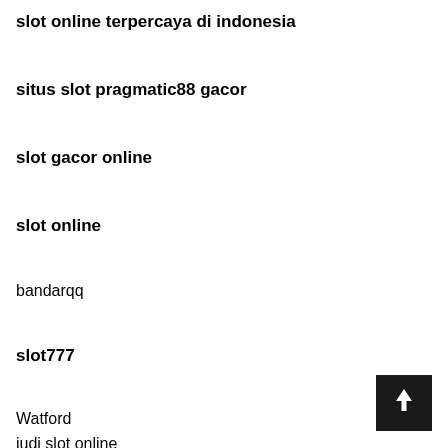slot online terpercaya di indonesia
situs slot pragmatic88 gacor
slot gacor online
slot online
bandarqq
slot777
Watford
judi slot online